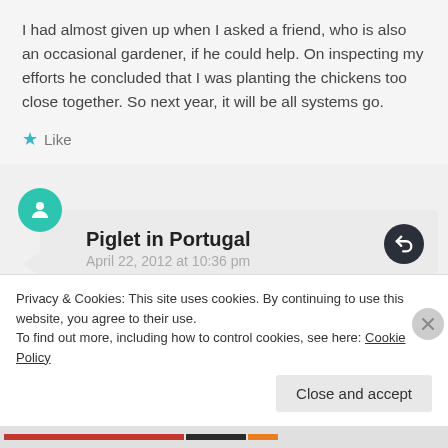I had almost given up when I asked a friend, who is also an occasional gardener, if he could help. On inspecting my efforts he concluded that I was planting the chickens too close together. So next year, it will be all systems go.
Like
Piglet in Portugal
April 22, 2012 at 10:36 pm
No you are doing it all wrong. You don't plant the chickens, you plant their eggs!
Privacy & Cookies: This site uses cookies. By continuing to use this website, you agree to their use.
To find out more, including how to control cookies, see here: Cookie Policy
Close and accept